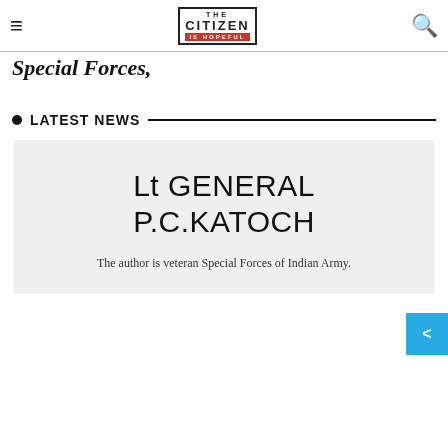THE CITIZEN IS HOPEFUL
Special Forces,
LATEST NEWS
[Figure (other): Author card with name Lt GENERAL P.C.KATOCH and description text on grey background]
Lt GENERAL P.C.KATOCH
The author is veteran Special Forces of Indian Army.